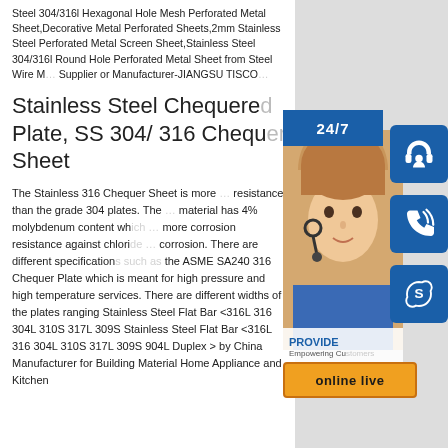Steel 304/316l Hexagonal Hole Mesh Perforated Metal Sheet,Decorative Metal Perforated Sheets,2mm Stainless Steel Perforated Metal Screen Sheet,Stainless Steel 304/316l Round Hole Perforated Metal Sheet from Steel Wire Mesh Supplier or Manufacturer-JIANGSU TISCO
Stainless Steel Chequered Plate, SS 304/ 316 Chequer Sheet
The Stainless 316 Chequer Sheet is more resistance than the grade 304 plates. The material has 4% molybdenum content which more corrosion resistance against chloride corrosion. There are different specifications such as the ASME SA240 316 Chequer Plate which is meant for high pressure and high temperature services. There are different widths of the plates ranging Stainless Steel Flat Bar <316L 316 304L 310S 317L 309S Stainless Steel Flat Bar <316L 316 304L 310S 317L 309S 904L Duplex > by China Manufacturer for Building Material Home Appliance and Kitchen
[Figure (infographic): Right sidebar with 24/7 label, customer service representative photo, PROVIDE Empowering Customers text, online live button, and three icon buttons (headset, phone, Skype) on blue background]